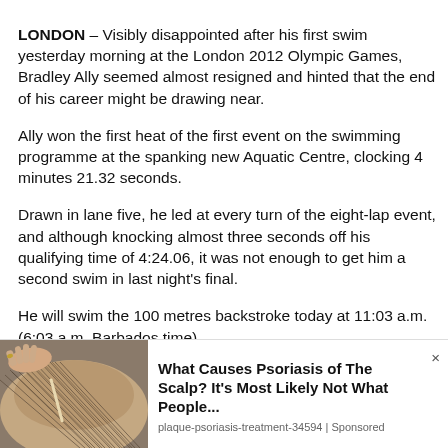LONDON – Visibly disappointed after his first swim yesterday morning at the London 2012 Olympic Games, Bradley Ally seemed almost resigned and hinted that the end of his career might be drawing near. Ally won the first heat of the first event on the swimming programme at the spanking new Aquatic Centre, clocking 4 minutes 21.32 seconds. Drawn in lane five, he led at every turn of the eight-lap event, and although knocking almost three seconds off his qualifying time of 4:24.06, it was not enough to get him a second swim in last night's final. He will swim the 100 metres backstroke today at 11:03 a.m. (6:03 a.m. Barbados time). "I have to sit down and talk to my coach, but personally, I am just going out there to have fun, just to enjoy myself. I am not trying to take it too serious," Ally told SUNSPORT in an interview after the race.
[Figure (photo): Close-up photo of hands examining hair on a person's scalp, with a comb or tool visible]
What Causes Psoriasis of The Scalp? It's Most Likely Not What People... plaque-psoriasis-treatment-34594 | Sponsored